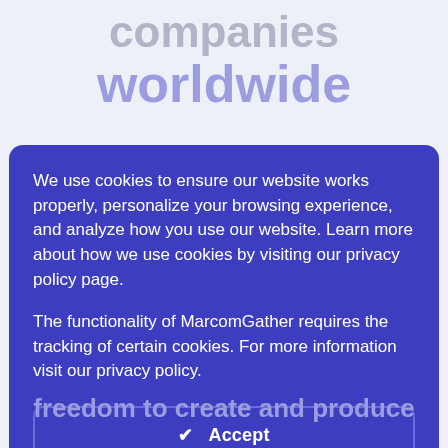companies worldwide
We use cookies to ensure our website works properly, personalize your browsing experience, and analyze how you use our website. Learn more about how we use cookies by visiting our privacy policy page.
The functionality of MarcomGather requires the tracking of certain cookies. For more information visit our privacy policy.
✔  Accept
Privacy Policy  →
Settings  ⚙
freedom to create and produce